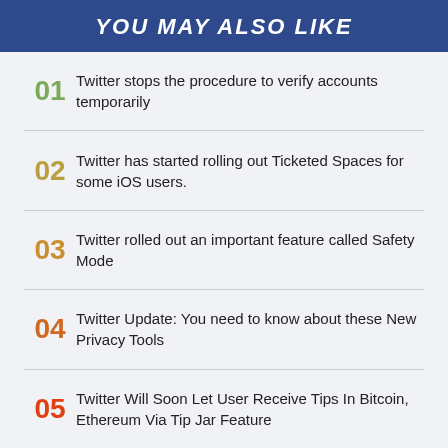YOU MAY ALSO LIKE
01 Twitter stops the procedure to verify accounts temporarily
02 Twitter has started rolling out Ticketed Spaces for some iOS users.
03 Twitter rolled out an important feature called Safety Mode
04 Twitter Update: You need to know about these New Privacy Tools
05 Twitter Will Soon Let User Receive Tips In Bitcoin, Ethereum Via Tip Jar Feature